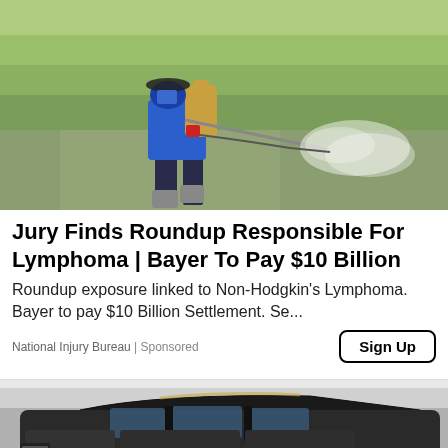[Figure (photo): A farmer wearing a blue jacket and hat, carrying a backpack sprayer, spraying pesticide/herbicide over a green rice field with mist visible.]
Jury Finds Roundup Responsible For Lymphoma | Bayer To Pay $10 Billion
Roundup exposure linked to Non-Hodgkin's Lymphoma. Bayer to pay $10 Billion Settlement. Se...
National Injury Bureau | Sponsored
[Figure (photo): Partial view of a dark SUV/truck vehicle in a garage or showroom setting.]